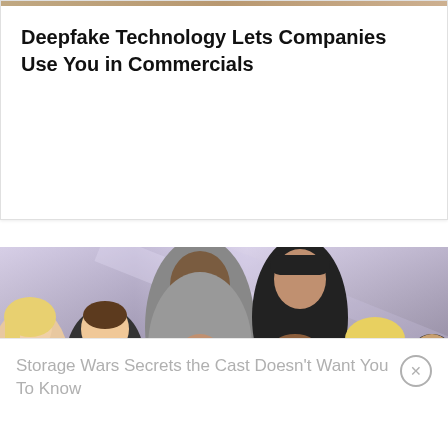[Figure (photo): Partial image at very top of card, cropped heads/faces barely visible]
Deepfake Technology Lets Companies Use You in Commercials
[Figure (photo): Group photo of Storage Wars cast members — multiple people including a large man in gray shirt, man in black cap, woman in red jacket, blonde woman, man in sunglasses at right, man in white Outlaw shirt, and others — posed in front of a storage unit with purple/silver lighting]
Storage Wars Secrets the Cast Doesn't Want You To Know